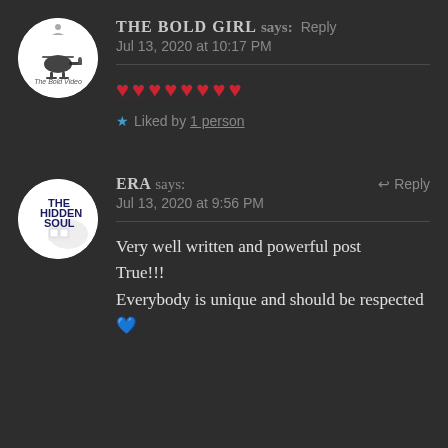[Figure (screenshot): Avatar circle for The Bold Girl with helicopter logo]
THE BOLD GIRL says: Reply
Jul 13, 2020 at 10:17 PM
♥♥♥♥♥♥♥♥ (8 red hearts)
★ Liked by 1 person
[Figure (screenshot): Avatar circle for The Hidden Soul with text THE HIDDEN SOUL]
ERA says: Reply
Jul 13, 2020 at 9:56 PM
Very well written and powerful post
True!!!
Everybody is unique and should be respected 💙